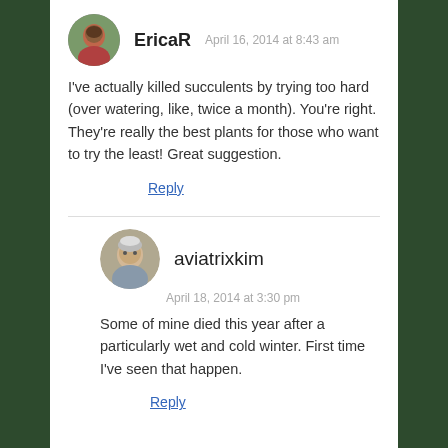EricaR  April 16, 2014 at 8:43 am
I've actually killed succulents by trying too hard (over watering, like, twice a month). You're right. They're really the best plants for those who want to try the least! Great suggestion.
Reply
aviatrixkim  April 18, 2014 at 3:30 pm
Some of mine died this year after a particularly wet and cold winter. First time I've seen that happen.
Reply